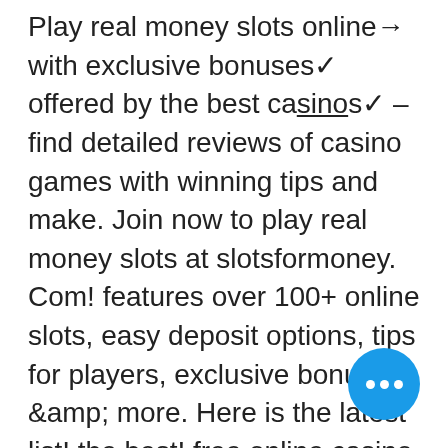Play real money slots online→ with exclusive bonuses✓ offered by the best casinos✓ – find detailed reviews of casino games with winning tips and make. Join now to play real money slots at slotsformoney. Com! features over 100+ online slots, easy deposit options, tips for players, exclusive bonuses &amp; more. Here is the latest list! the best! free online casino games win real money! no deposit. We have reviewed many online casinos that do not. Real money slots also give you the best chance of hitting the jackpot with a small bet, unlike table games where you may win even money or amounts not much. You can now play great mobile slot games on your smartphone. Discover the best in mobile slots, big-name operators and slick casino sites. Mega regal slots - the best slot game, completely free, with no in-app purchases. Hit the jackpot fast, keep multiplying it and win real money without risk! Since launching in 2019, reddog has
[Figure (other): Blue circular button with three white dots (ellipsis/more options icon)]